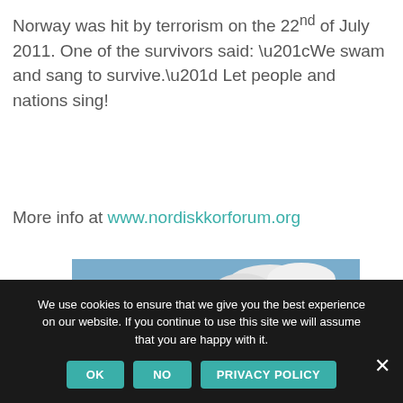Norway was hit by terrorism on the 22nd of July 2011. One of the survivors said: “We swam and sang to survive.” Let people and nations sing!
More info at www.nordiskkorforum.org
[Figure (photo): Exterior view of a modern glass and steel building surrounded by green trees and grass under a partly cloudy sky]
We use cookies to ensure that we give you the best experience on our website. If you continue to use this site we will assume that you are happy with it.